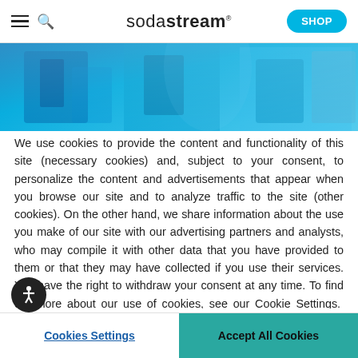sodastream — SHOP (navigation bar with hamburger menu, search icon, logo, and Shop button)
[Figure (photo): Blue-toned banner image of a SodaStream product in a kitchen setting]
We use cookies to provide the content and functionality of this site (necessary cookies) and, subject to your consent, to personalize the content and advertisements that appear when you browse our site and to analyze traffic to the site (other cookies). On the other hand, we share information about the use you make of our site with our advertising partners and analysts, who may compile it with other data that you have provided to them or that they may have collected if you use their services. You have the right to withdraw your consent at any time. To find out more about our use of cookies, see our Cookie Settings. Our Policy
Cookies Settings | Accept All Cookies